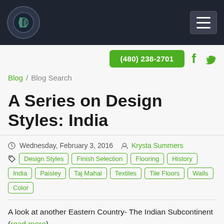Logo and navigation header bar
(480) 238-2701
Blog / Blog Search
A Series on Design Styles: India
Wednesday, February 3, 2016  Krysta Summers
Design Styles | Finish Selection | Flooring | History | India | Paisley | Taj Mahal | Textiles | Tile Floors | Walls | Color
A look at another Eastern Country- The Indian Subcontinent (read more)